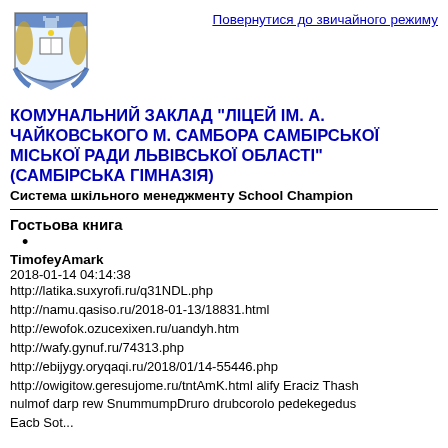[Figure (logo): Coat of arms / school logo]
Повернутися до звичайного режиму
КОМУНАЛЬНИЙ ЗАКЛАД "ЛІЦЕЙ ІМ. А. ЧАЙКОВСЬКОГО М. САМБОРА САМБІРСЬКОЇ МІСЬКОЇ РАДИ ЛЬВІВСЬКОЇ ОБЛАСТІ" (САМБІРСЬКА ГІМНАЗІЯ)
Система шкільного менеджменту School Champion
Гостьова книга
•
TimofeyAmark
2018-01-14 04:14:38
http://latika.suxyrofi.ru/q31NDL.php
http://namu.qasiso.ru/2018-01-13/18831.html
http://ewofok.ozucexixen.ru/uandyh.htm
http://wafy.gynuf.ru/74313.php
http://ebijygy.oryqaqi.ru/2018/01/14-55446.php
http://owigitow.geresujome.ru/tntAmK.html alify Eraciz Thash nulmof darp rew SnummumpDruro drubcorolo pedekegedus Eacb Sot...